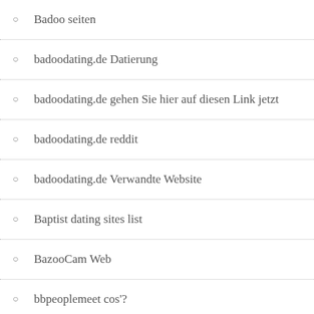Badoo seiten
badoodating.de Datierung
badoodating.de gehen Sie hier auf diesen Link jetzt
badoodating.de reddit
badoodating.de Verwandte Website
Baptist dating sites list
BazooCam Web
bbpeoplemeet cos'?
bbpeoplemeet free trial
bbpeoplemeet hookup hotshot
bbpeoplemeet mobile
BBPeopleMeet profiles